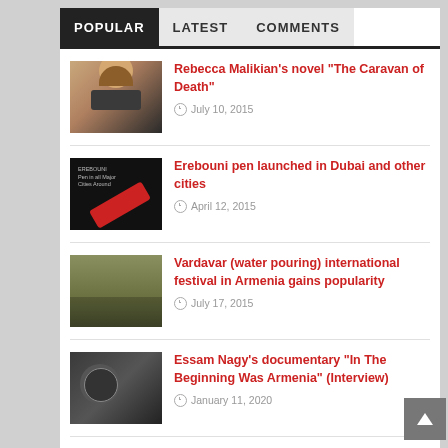POPULAR | LATEST | COMMENTS
Rebecca Malikian’s novel “The Caravan of Death”
July 10, 2015
Erebouni pen launched in Dubai and other cities
April 12, 2015
Vardavar (water pouring) international festival in Armenia gains popularity
July 17, 2015
Essam Nagy’s documentary “In The Beginning Was Armenia” (Interview)
January 11, 2020